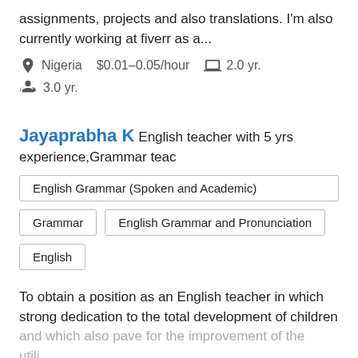assignments, projects and also translations. I'm also currently working at fiverr as a...
Nigeria  $0.01–0.05/hour  2.0 yr.
3.0 yr.
Jayaprabha K  English teacher with 5 yrs experience,Grammar teac
English Grammar (Spoken and Academic)
Grammar
English Grammar and Pronunciation
English
To obtain a position as an English teacher in which strong dedication to the total development of children and which also pave for the improvement of the utilizing...